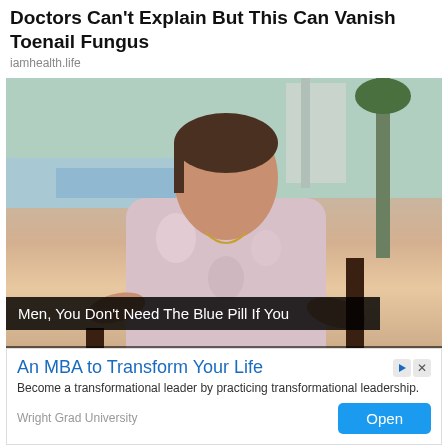Doctors Can't Explain But This Can Vanish Toenail Fungus
iamhealth.life
[Figure (photo): Woman sitting outdoors near a pool, wearing a floral dress, with palm trees and a resort building in the background. A video playback bar is visible at the bottom of the image.]
Men, You Don't Need The Blue Pill If You
An MBA to Transform Your Life
Become a transformational leader by practicing transformational leadership.
Wright Grad University